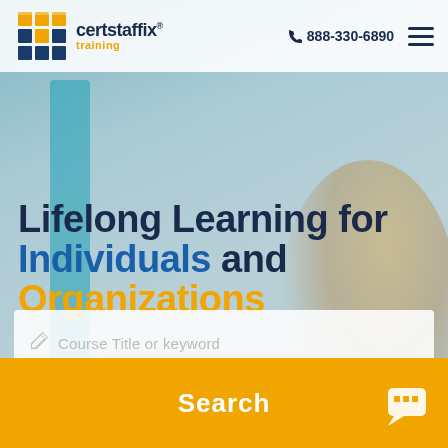[Figure (logo): Certstaffix Training logo with cube graphic and company name]
888-330-6890
Lifelong Learning for Individuals and Organizations
Course Title or keyword
Search